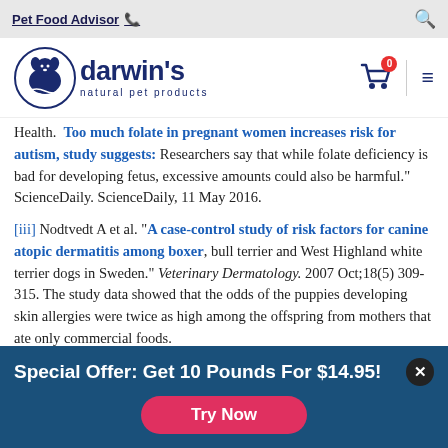Pet Food Advisor
[Figure (logo): Darwin's Natural Pet Products logo with dog illustration]
Health. Too much folate in pregnant women increases risk for autism, study suggests: Researchers say that while folate deficiency is bad for developing fetus, excessive amounts could also be harmful." ScienceDaily. ScienceDaily, 11 May 2016.
[iii] Nodtvedt A et al. "A case-control study of risk factors for canine atopic dermatitis among boxer, bull terrier and West Highland white terrier dogs in Sweden." Veterinary Dermatology. 2007 Oct;18(5) 309-315. The study data showed that the odds of the puppies developing skin allergies were twice as high among the offspring from mothers that ate only commercial foods.
Special Offer: Get 10 Pounds For $14.95!
Try Now